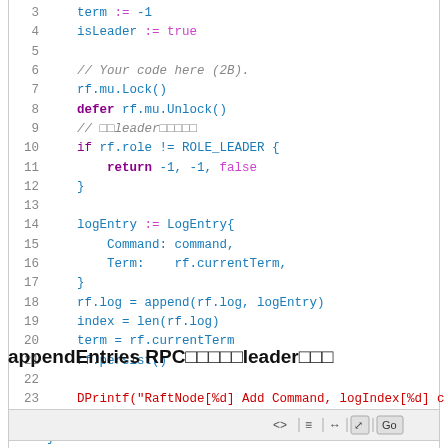[Figure (screenshot): Code editor screenshot showing Go language code for a Raft consensus algorithm implementation, lines 3-25, with syntax highlighting. Shows variable assignments, mutex lock/unlock, role check, log entry creation, and return statement.]
appendEntries RPCにてleaderにて
[Figure (screenshot): Code editor toolbar with navigation icons and Go button at bottom of page.]